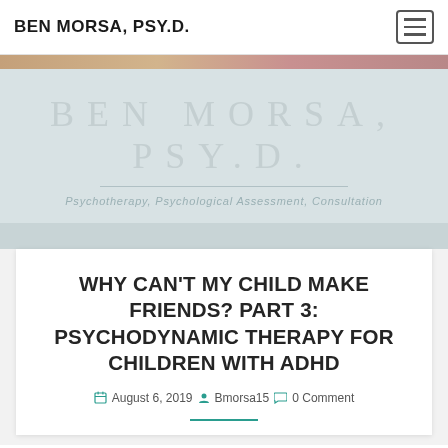BEN MORSA, PSY.D.
[Figure (illustration): Decorative hero banner with background photo strip (peach/warm tones), large watermark-style text 'BEN MORSA, PSY.D.' in light gray letters on blue-gray background, subtitle 'Psychotherapy, Psychological Assessment, Consultation']
WHY CAN'T MY CHILD MAKE FRIENDS? PART 3: PSYCHODYNAMIC THERAPY FOR CHILDREN WITH ADHD
August 6, 2019  Bmorsa15  0 Comment